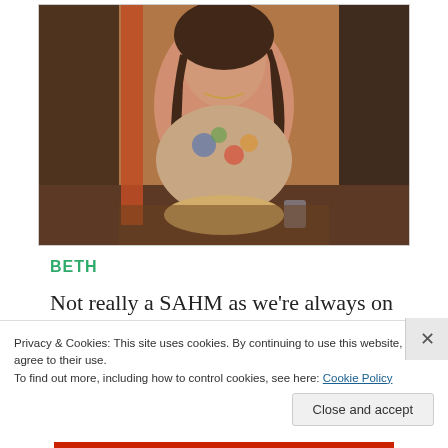[Figure (photo): Photo of a woman named Beth sitting at a restaurant table, wearing a floral top with dark hair, with food and a drink on the table.]
BETH
Not really a SAHM as we're always on
Privacy & Cookies: This site uses cookies. By continuing to use this website, you agree to their use.
To find out more, including how to control cookies, see here: Cookie Policy
Close and accept